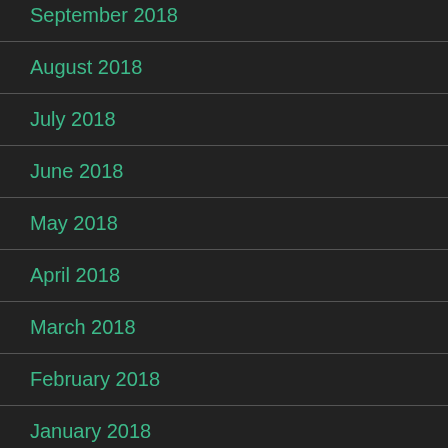September 2018
August 2018
July 2018
June 2018
May 2018
April 2018
March 2018
February 2018
January 2018